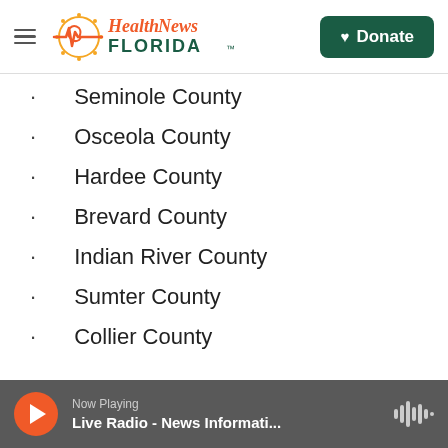Health News Florida | Donate
Seminole County
Osceola County
Hardee County
Brevard County
Indian River County
Sumter County
Collier County
Now Playing Live Radio - News Informati...